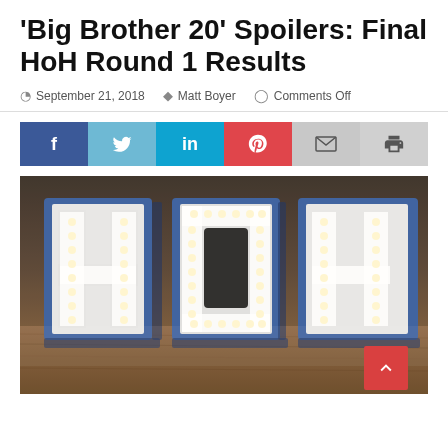'Big Brother 20' Spoilers: Final HoH Round 1 Results
September 21, 2018  Matt Boyer  Comments Off
[Figure (infographic): Social sharing buttons: Facebook (blue), Twitter (light blue), LinkedIn (teal), Pinterest (red), Email (light grey), Print (grey)]
[Figure (photo): Illuminated HOH letters (Head of Household) with white light bulbs and blue trim, sitting on a wooden surface, from the TV show Big Brother]